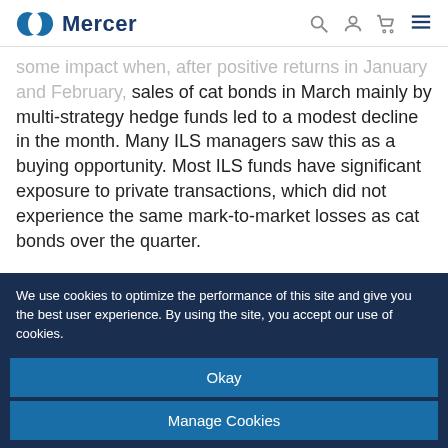Mercer
some impact when, after positive returns in January and February, sales of cat bonds in March mainly by multi-strategy hedge funds led to a modest decline in the month. Many ILS managers saw this as a buying opportunity. Most ILS funds have significant exposure to private transactions, which did not experience the same mark-to-market losses as cat bonds over the quarter.
There is potential for some ILS portfolios to have exposure to business interruption (BI) claims because of COVID-19, but forecasters expect it to be limited. Some insurance
We use cookies to optimize the performance of this site and give you the best user experience. By using the site, you accept our use of cookies.
Okay
Manage Cookies